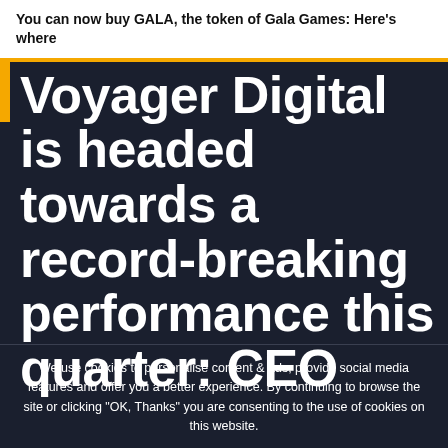You can now buy GALA, the token of Gala Games: Here's where
Voyager Digital is headed towards a record-breaking performance this quarter: CEO
We use cookies to personalise content & ads, provide social media features and offer you a better experience. By continuing to browse the site or clicking "OK, Thanks" you are consenting to the use of cookies on this website.
OK, thanks